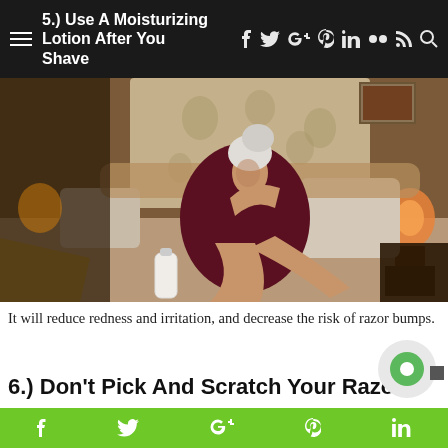5.) Use A Moisturizing Lotion After You Shave
[Figure (photo): A woman in a dark red robe with a white towel wrapped around her head sits on a bed, applying lotion to her leg. A bottle of lotion is visible in the foreground. Bedroom with warm lamp light in the background.]
It will reduce redness and irritation, and decrease the risk of razor bumps.
6.) Don’t Pick And Scratch Your Razor…
f  Twitter  G+  Pinterest  in